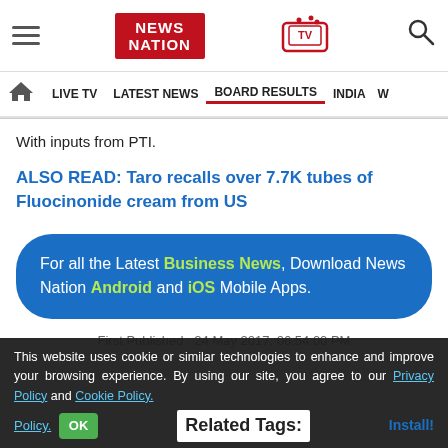NEWS NATION — navigation header with LIVE TV, LATEST NEWS, BOARD RESULTS, INDIA
With inputs from PTI.
ALSO READ: Taro recalls over 7.7K tubes of Fluocinonide cream from US
For all the Latest Business News, Download News Nation Android and iOS Mobile Apps.
First Published : 24 May 2017, 06:54:00 PM
This website uses cookie or similar technologies to enhance and improve your browsing experience. By using our site, you agree to our Privacy Policy and Cookie Policy.
Related Tags: